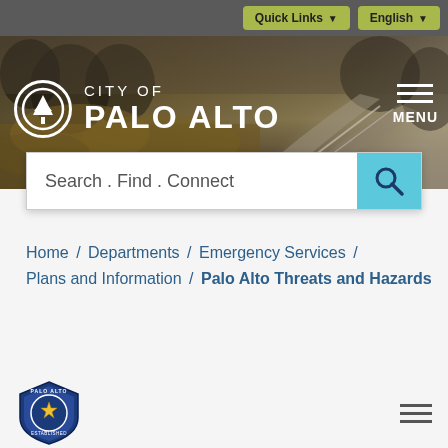Quick Links | English
[Figure (logo): City of Palo Alto logo: white circle with tree icon, text CITY OF PALO ALTO in white on dark background with landscape photo]
Search . Find . Connect
Home / Departments / Emergency Services / Plans and Information / Palo Alto Threats and Hazards
[Figure (logo): Palo Alto city badge/shield logo at bottom left]